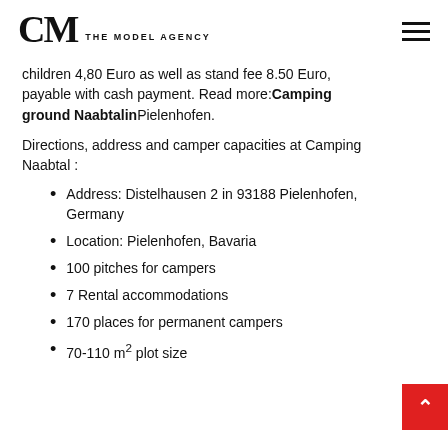CM THE MODEL AGENCY
children 4,80 Euro as well as stand fee 8.50 Euro, payable with cash payment. Read more: Camping ground Naabtalin Pielenhofen.
Directions, address and camper capacities at Camping Naabtal :
Address: Distelhausen 2 in 93188 Pielenhofen, Germany
Location: Pielenhofen, Bavaria
100 pitches for campers
7 Rental accommodations
170 places for permanent campers
70-110 m² plot size